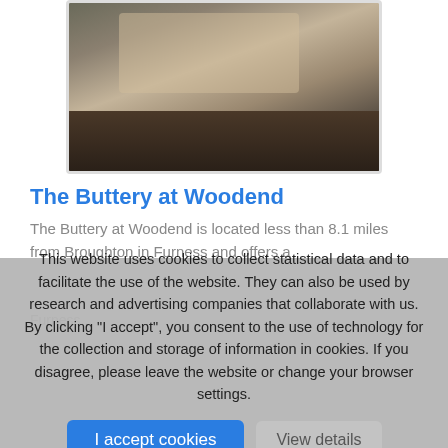[Figure (photo): Interior room photo showing a living room with a dark sofa, patterned rug on slate floor, and a wood-burning stove on the right]
The Buttery at Woodend
The Buttery at Woodend is located less than 8.1 miles from Broughton in Furness and offers a...
This website uses cookies to collect statistical data and to facilitate the use of the website. They can also be used by research and advertising companies that collaborate with us. By clicking "I accept", you consent to the use of technology for the collection and storage of information in cookies. If you disagree, please leave the website or change your browser settings.